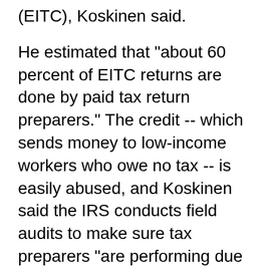(EITC), Koskinen said.
He estimated that "about 60 percent of EITC returns are done by paid tax return preparers." The credit -- which sends money to low-income workers who owe no tax -- is easily abused, and Koskinen said the IRS conducts field audits to make sure tax preparers "are performing due diligence to ensure that individuals claiming the EITC are in fact eligible for the credit."
Rep. John Thune (R-S.D.) noted that "incredible complexity of the tax code" already is forcing Americans to turn to tax